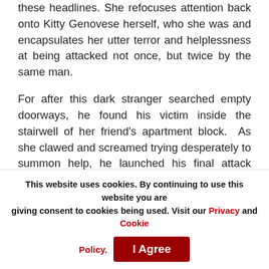these headlines. She refocuses attention back onto Kitty Genovese herself, who she was and encapsulates her utter terror and helplessness at being attacked not once, but twice by the same man.
For after this dark stranger searched empty doorways, he found his victim inside the stairwell of her friend's apartment block.  As she clawed and screamed trying desperately to summon help, he launched his final attack ensuring she would not survive.  In her narrative of events, Catherine Pelonero details the opening and closing of
This website uses cookies. By continuing to use this website you are giving consent to cookies being used. Visit our Privacy and Cookie Policy.  I Agree